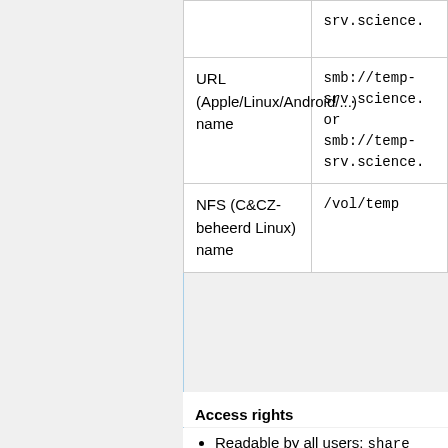| Name type | Value |
| --- | --- |
|  | srv.science. |
| URL (Apple/Linux/Android/...) name | smb://temp-srv.science.
or
smb://temp-srv.science. |
| NFS (C&CZ-beheerd Linux) name | /vol/temp |
Access rights
Readable by all users: share
Only readable for the owner: onlyme